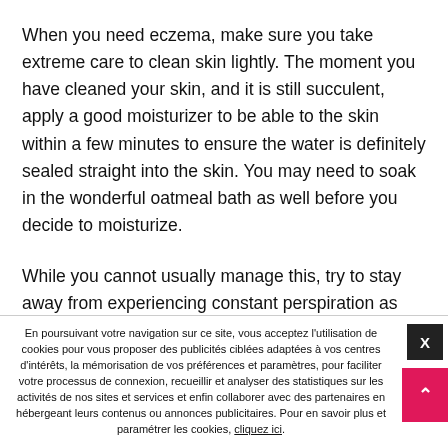When you need eczema, make sure you take extreme care to clean skin lightly. The moment you have cleaned your skin, and it is still succulent, apply a good moisturizer to be able to the skin within a few minutes to ensure the water is definitely sealed straight into the skin. You may need to soak in the wonderful oatmeal bath as well before you decide to moisturize.
While you cannot usually manage this, try to stay away from experiencing constant perspiration as much like possible. If you operate out or even you get yourself getting overheated, jump in the shower as soon as possible. It will assistance with
En poursuivant votre navigation sur ce site, vous acceptez l'utilisation de cookies pour vous proposer des publicités ciblées adaptées à vos centres d'intérêts, la mémorisation de vos préférences et paramètres, pour faciliter votre processus de connexion, recueillir et analyser des statistiques sur les activités de nos sites et services et enfin collaborer avec des partenaires en hébergeant leurs contenus ou annonces publicitaires. Pour en savoir plus et paramétrer les cookies, cliquez ici.